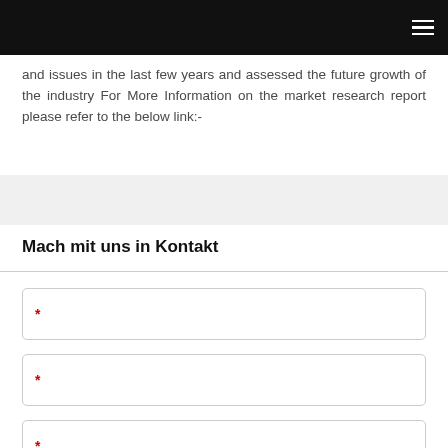and issues in the last few years and assessed the future growth of the industry For More Information on the market research report please refer to the below link:-
Mach mit uns in Kontakt